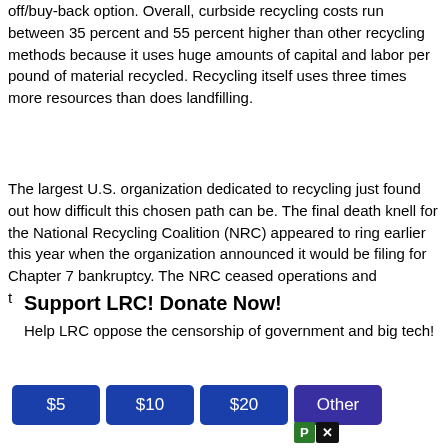off/buy-back option. Overall, curbside recycling costs run between 35 percent and 55 percent higher than other recycling methods because it uses huge amounts of capital and labor per pound of material recycled. Recycling itself uses three times more resources than does landfilling.
The largest U.S. organization dedicated to recycling just found out how difficult this chosen path can be. The final death knell for the National Recycling Coalition (NRC) appeared to ring earlier this year when the organization announced it would be filing for Chapter 7 bankruptcy. The NRC ceased operations and terminated all staff members at the close of business
Support LRC! Donate Now!
Help LRC oppose the censorship of government and big tech!